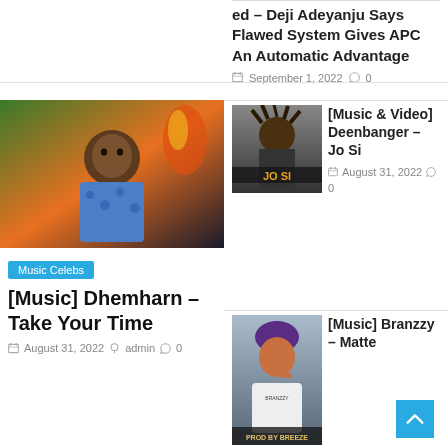ed – Deji Adeyanju Says Flawed System Gives APC An Automatic Advantage
September 1, 2022  0
[Figure (photo): Young man in blue floral shirt with fire/greenery background]
Music Celebs
[Music] Dhemharn – Take Your Time
August 31, 2022  admin  0
[Figure (photo): Musician with dreadlocks, Jo Si album art with yellow text]
[Music & Video] Deenbanger – Jo Si
August 31, 2022  0
[Figure (photo): Young man in white shirt with purple beanie, Branzzy music cover]
[Music] Branzzy – Matte